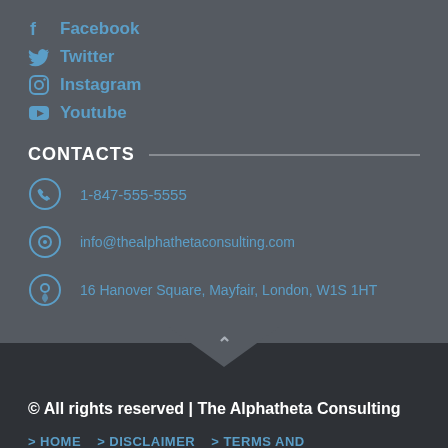Facebook
Twitter
Instagram
Youtube
CONTACTS
1-847-555-5555
info@thealphathetaconsulting.com
16 Hanover Square, Mayfair, London, W1S 1HT
© All rights reserved | The Alphatheta Consulting
> HOME   > DISCLAIMER   > TERMS AND CONDITION   > PRIVACY POLICY